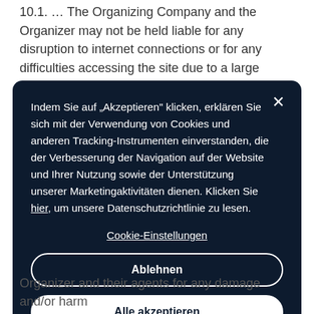10.1. ... The Organizing Company and the Organizer may not be held liable for any disruption to internet connections or for any difficulties accessing the site due to a large number of visitors or participants.
[Figure (screenshot): Cookie consent modal dialog with dark navy background. Contains German text about cookies and tracking, a close button (×), a 'Cookie-Einstellungen' link, an 'Ablehnen' (reject) button with white border, and an 'Alle akzeptieren' (accept all) button with white fill.]
Organizer and their agents for any damage and/or harm